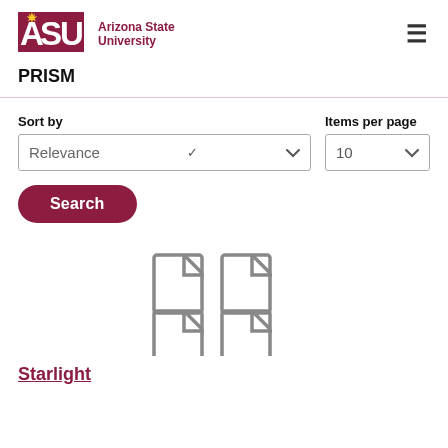[Figure (logo): Arizona State University logo with maroon ASU letters and gold sun icon, followed by 'Arizona State University' text in maroon]
PRISM
Sort by
Items per page
Relevance (dropdown)
10 (dropdown)
Search
[Figure (illustration): Four document/file icons arranged in a 2x2 grid, outlined in gray]
Starlight